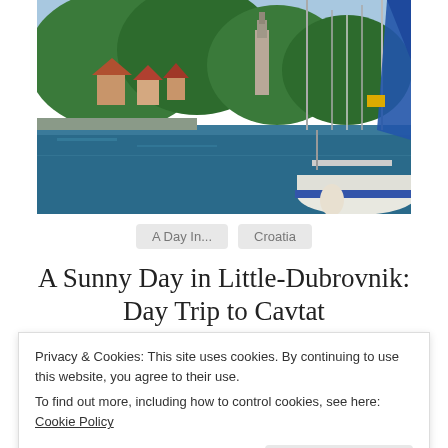[Figure (photo): A Mediterranean harbour scene with sailboats moored in the foreground, blue water, and a hillside town with orange-roofed buildings and lush green trees in the background.]
A Day In...   Croatia
A Sunny Day in Little-Dubrovnik: Day Trip to Cavtat
Privacy & Cookies: This site uses cookies. By continuing to use this website, you agree to their use.
To find out more, including how to control cookies, see here: Cookie Policy
Close and accept
quiet and pleasant – not bustle-y and much more relaxing than